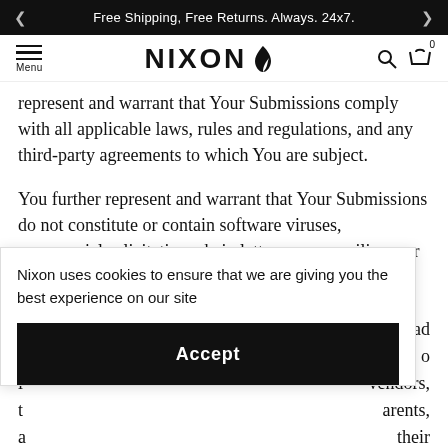Free Shipping, Free Returns. Always. 24x7.
[Figure (logo): Nixon brand logo with flame icon, menu hamburger icon and cart/search icons in navigation bar]
represent and warrant that Your Submissions comply with all applicable laws, rules and regulations, and any third-party agreements to which You are subject.
You further represent and warrant that Your Submissions do not constitute or contain software viruses, commercial solicitation, chain letters, mass mailings, or any form of "spam". You may not use a false e-mail address, mislead [us] to [believe] that [the submissions] come from another [source], impersonate any person or entity, or otherwise mislead [as to the origin]. You agree to indemnify and hold harmless Nixon, its affiliates, vendors, licensors, officers, directors, employees, successors, parents, subsidiaries, assigns, agents and representatives and their respective officers, directors, employees, successors,
Nixon uses cookies to ensure that we are giving you the best experience on our site
Accept